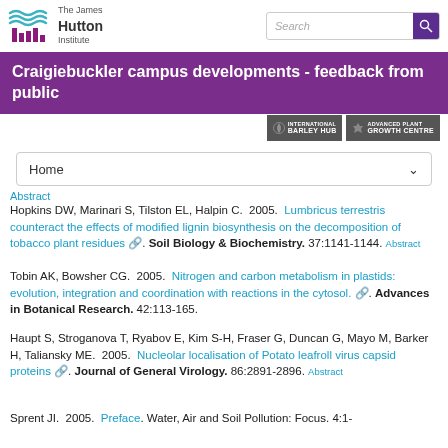[Figure (logo): The James Hutton Institute logo with wave/bar graphic, institute name, and search bar]
Craigiebuckler campus developments - feedback from public
[Figure (logo): International Barley Hub and Advanced Plant Growth Centre badges]
Home
Abstract
Hopkins DW, Marinari S, Tilston EL, Halpin C.  2005.  Lumbricus terrestris counteract the effects of modified lignin biosynthesis on the decomposition of tobacco plant residues. Soil Biology & Biochemistry. 37:1141-1144. Abstract
Tobin AK, Bowsher CG.  2005.  Nitrogen and carbon metabolism in plastids: evolution, integration and coordination with reactions in the cytosol. Advances in Botanical Research. 42:113-165.
Haupt S, Stroganova T, Ryabov E, Kim S-H, Fraser G, Duncan G, Mayo M, Barker H, Taliansky ME.  2005.  Nucleolar localisation of Potato leafroll virus capsid proteins. Journal of General Virology. 86:2891-2896. Abstract
Sprent JI.  2005.  Preface. Water, Air and Soil Pollution: Focus. 4:1-